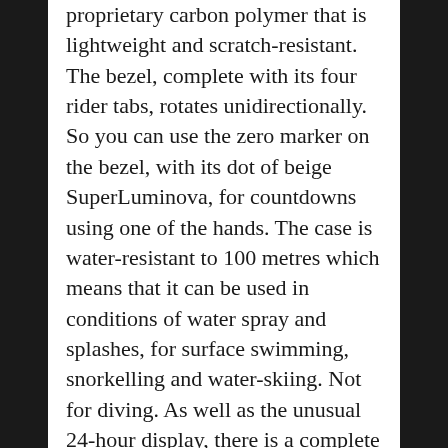proprietary carbon polymer that is lightweight and scratch-resistant. The bezel, complete with its four rider tabs, rotates unidirectionally. So you can use the zero marker on the bezel, with its dot of beige SuperLuminova, for countdowns using one of the hands. The case is water-resistant to 100 metres which means that it can be used in conditions of water spray and splashes, for surface swimming, snorkelling and water-skiing. Not for diving. As well as the unusual 24-hour display, there is a complete quarter-second scale for use with the chronograph seconds hand, and a hundredths scale on the inner bezel flange. Hour and minute hands, and the numerals and hour markers, have a coating of beige SuperLuminova. The watch is powered by the Breitling Calibre B12 movement, a self-winding chronograph calibre designed and built in-house, and it has a column wheel controlling the chronograph functions, with a vertical